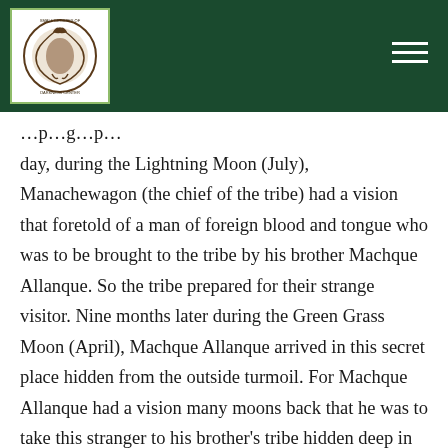Small Crosses of Darkness Center (logo and navigation bar)
day, during the Lightning Moon (July), Manachewagon (the chief of the tribe) had a vision that foretold of a man of foreign blood and tongue who was to be brought to the tribe by his brother Machque Allanque.  So the tribe prepared for their strange visitor.  Nine months later during the Green Grass Moon (April), Machque Allanque arrived in this secret place hidden from the outside turmoil.  For Machque Allanque had a vision many moons back that he was to take this stranger to his brother's tribe hidden deep in the mountains.  Three days after his tribe in Virginia was destroyed by soldiers, he and the stranger carefully left on their journey.  They barely escaped the battle and slaughter which took place in the land he called home for so many